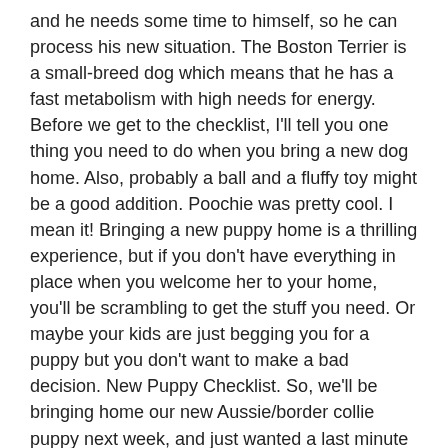and he needs some time to himself, so he can process his new situation. The Boston Terrier is a small-breed dog which means that he has a fast metabolism with high needs for energy. Before we get to the checklist, I'll tell you one thing you need to do when you bring a new dog home. Also, probably a ball and a fluffy toy might be a good addition. Poochie was pretty cool. I mean it! Bringing a new puppy home is a thrilling experience, but if you don't have everything in place when you welcome her to your home, you'll be scrambling to get the stuff you need. Or maybe your kids are just begging you for a puppy but you don't want to make a bad decision. New Puppy Checklist. So, we'll be bringing home our new Aussie/border collie puppy next week, and just wanted a last minute sanity check on our shopping list. Homer was fur-ious. Your new puppy … Share via facebook; Share via twitter; Share via whatsapp; … 3K Shares. I'm getting a new toy poodle in a couple weeks and I was wondering if someone can comment a list of responsibilities and stuff needed for the dog. It's important to get toys of different textures. Plus I've made it into a free printable you can download and add to your planner to help you stay organized! September 13, 2020. Healthy Puppy Checklist and Warning Signs of Illness. Make sure to have plenty of chew toys for your dog. A collar, ID tag, and leash . You don't want to have to resort to napkins and